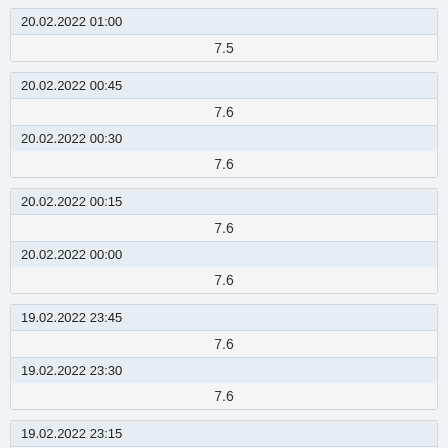| 20.02.2022 01:00 |
| --- |
| 7.5 |
| 20.02.2022 00:45 |
| --- |
| 7.6 |
| 20.02.2022 00:15 |
| --- |
| 7.6 |
| 19.02.2022 23:45 |
| --- |
| 7.6 |
| 19.02.2022 23:15 |
| --- |
| 7.7 |